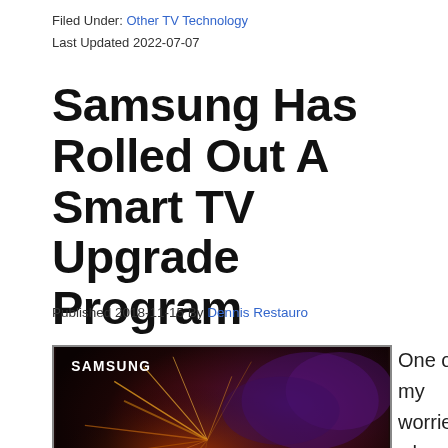Filed Under: Other TV Technology
Last Updated 2022-07-07
Samsung Has Rolled Out A Smart TV Upgrade Program
Published 2018-11-15 By Dennis Restauro
[Figure (photo): Samsung QLED TV displayed against a dark background with colorful floral imagery]
One of my worries when